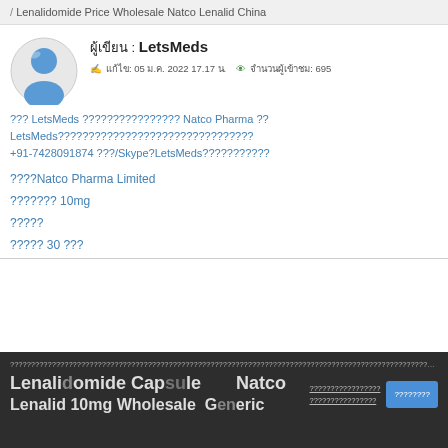/ Lenalidomide Price Wholesale Natco Lenalid China
[Figure (illustration): Blue user avatar icon, circular with person silhouette]
ผู้เขียน : LetsMeds
แก้ไข: 05 ม.ค. 2022 17.17 น. • จำนวนผู้เข้าชม: 695
??? LetsMeds ???????????????? Natco Pharma ?? LetsMeds???????????????????????????????? +91-7428091874 ???/Skype?LetsMeds???????????
????Natco Pharma Limited
??????? 10mg
?????
????? 30 ???
?????????????????????????????????????????????????????????????????????? Lenalidomide Capsule Natco Lenalid 10mg Wholesale Generic ?????????????????????? ??????????????????? ??????